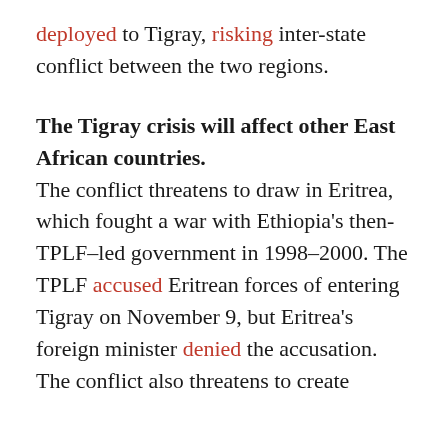deployed to Tigray, risking inter-state conflict between the two regions.
The Tigray crisis will affect other East African countries.
The conflict threatens to draw in Eritrea, which fought a war with Ethiopia's then-TPLF–led government in 1998–2000. The TPLF accused Eritrean forces of entering Tigray on November 9, but Eritrea's foreign minister denied the accusation. The conflict also threatens to create